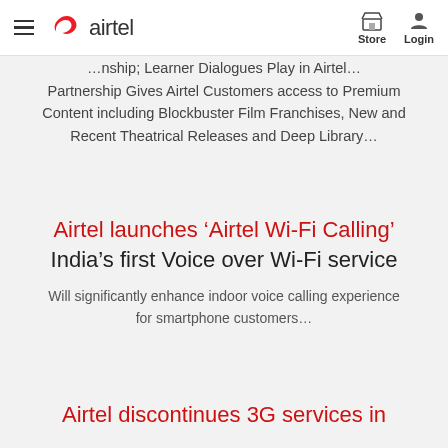airtel | Store | Login
Partnership Gives Airtel Customers access to Premium Content including Blockbuster Film Franchises, New and Recent Theatrical Releases and Deep Library...
Airtel launches ‘Airtel Wi-Fi Calling’ India’s first Voice over Wi-Fi service
Will significantly enhance indoor voice calling experience for smartphone customers...
Airtel discontinues 3G services in